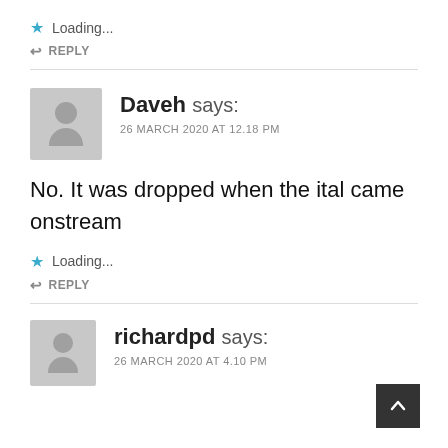Loading...
REPLY
Daveh says:
26 MARCH 2020 AT 12.18 PM
No. It was dropped when the ital came onstream
Loading...
REPLY
richardpd says:
26 MARCH 2020 AT 4.10 PM